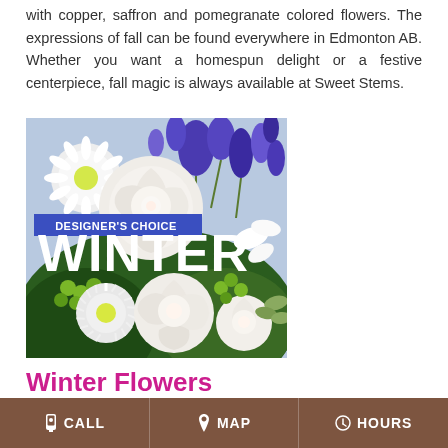with copper, saffron and pomegranate colored flowers. The expressions of fall can be found everywhere in Edmonton AB. Whether you want a homespun delight or a festive centerpiece, fall magic is always available at Sweet Stems.
[Figure (photo): Photo of winter flower arrangement featuring white roses, blue/purple irises or delphiniums, white chrysanthemums, and green berries. Overlaid with 'DESIGNER'S CHOICE' badge in blue and large 'WINTER' text in white.]
Winter Flowers
CALL  MAP  HOURS